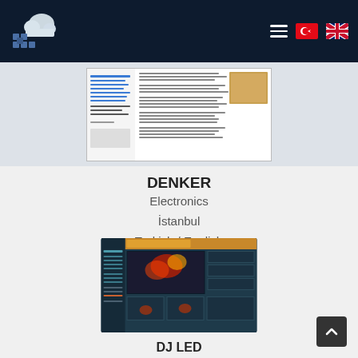Header navigation with logo, hamburger menu, Turkish flag, UK flag
[Figure (screenshot): Screenshot of a website page showing a document with sidebar navigation links, body text content, and a small image in the top right corner]
DENKER
Electronics
İstanbul
Turkish / English
[Figure (screenshot): Screenshot of DJ LED website with dark teal/navy design, showing DJ Led branding, navigation sidebar, and multiple concert/performance photo thumbnails]
DJ LED